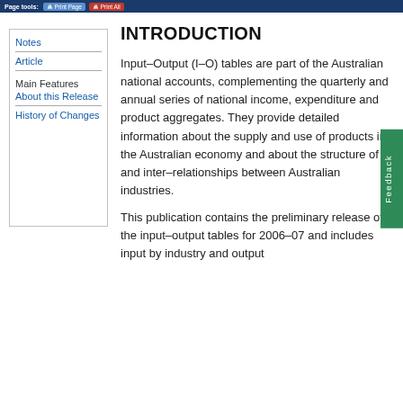Page tools: Print Page | Print All
Notes
Article
Main Features
About this Release
History of Changes
INTRODUCTION
Input–Output (I–O) tables are part of the Australian national accounts, complementing the quarterly and annual series of national income, expenditure and product aggregates. They provide detailed information about the supply and use of products in the Australian economy and about the structure of and inter–relationships between Australian industries.
This publication contains the preliminary release of the input–output tables for 2006–07 and includes input by industry and output